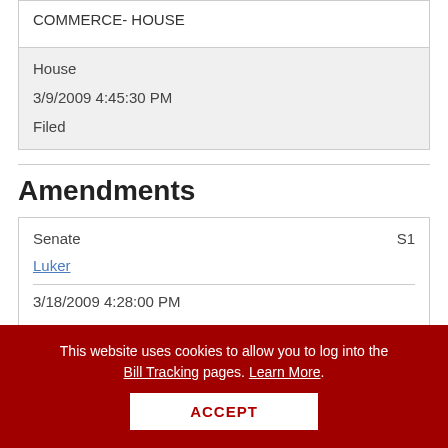| COMMERCE- HOUSE |
| House
3/9/2009 4:45:30 PM
Filed |
Amendments
| Senate | S1 |
| Luker |  |
| 3/18/2009 4:28:00 PM |  |
This website uses cookies to allow you to log into the Bill Tracking pages. Learn More.